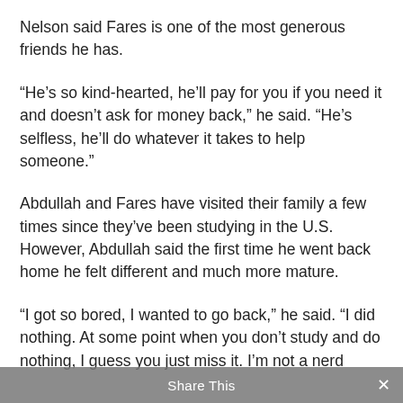Nelson said Fares is one of the most generous friends he has.
“He’s so kind-hearted, he’ll pay for you if you need it and doesn’t ask for money back,” he said. “He’s selfless, he’ll do whatever it takes to help someone.”
Abdullah and Fares have visited their family a few times since they’ve been studying in the U.S. However, Abdullah said the first time he went back home he felt different and much more mature.
“I got so bored, I wanted to go back,” he said. “I did nothing. At some point when you don’t study and do nothing, I guess you just miss it. I’m not a nerd
Share This ×